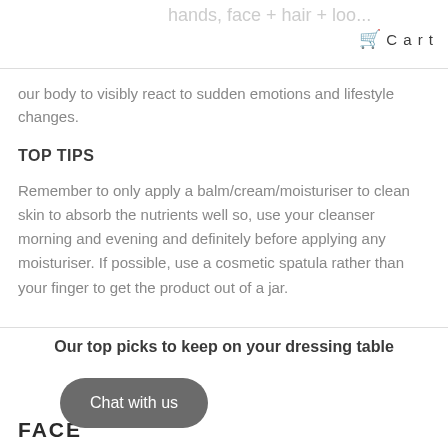hands, face + hair + loo... Cart
our body to visibly react to sudden emotions and lifestyle changes.
TOP TIPS
Remember to only apply a balm/cream/moisturiser to clean skin to absorb the nutrients well so, use your cleanser morning and evening and definitely before applying any moisturiser. If possible, use a cosmetic spatula rather than your finger to get the product out of a jar.
Our top picks to keep on your dressing table
FACE